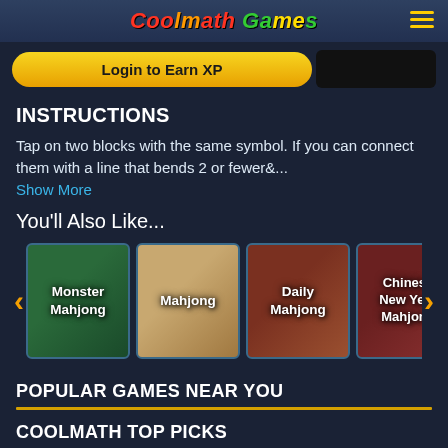Coolmath Games
Login to Earn XP
INSTRUCTIONS
Tap on two blocks with the same symbol. If you can connect them with a line that bends 2 or fewer&...
Show More
You'll Also Like...
[Figure (screenshot): Carousel of game thumbnails: Monster Mahjong, Mahjong, Daily Mahjong, Chinese New Year Mahjong]
POPULAR GAMES NEAR YOU
COOLMATH TOP PICKS